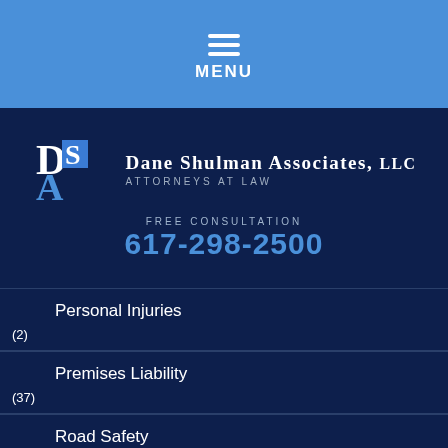MENU
[Figure (logo): Dane Shulman Associates, LLC logo with DSA initials and the text ATTORNEYS AT LAW]
FREE CONSULTATION
617-298-2500
Personal Injuries (2)
Premises Liability (37)
Road Safety (1)
Spinal Cord Injuries